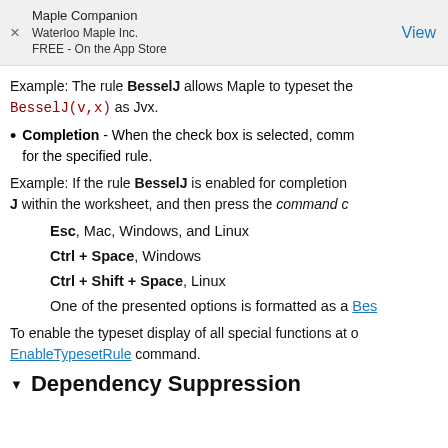Maple Companion
Waterloo Maple Inc.
FREE - On the App Store
Example: The rule BesselJ allows Maple to typeset the BesselJ(v,x) as Jvx.
Completion - When the check box is selected, comm for the specified rule.
Example: If the rule BesselJ is enabled for completion J within the worksheet, and then press the command c
Esc, Mac, Windows, and Linux
Ctrl + Space, Windows
Ctrl + Shift + Space, Linux
One of the presented options is formatted as a Bes
To enable the typeset display of all special functions at EnableTypesetRule command.
Dependency Suppression